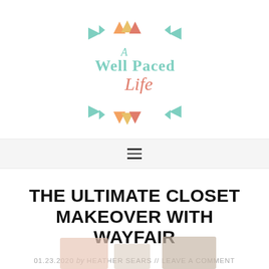[Figure (logo): A Well Paced Life blog logo — decorative geometric arrows in mint green, salmon/coral and orange-yellow, with script text 'A Well Paced Life']
[Figure (other): Hamburger menu icon (three horizontal lines)]
THE ULTIMATE CLOSET MAKEOVER WITH WAYFAIR
01.23.2020 by HEATHER SEARS // LEAVE A COMMENT
[Figure (photo): Partially visible bottom images of closet/room items]